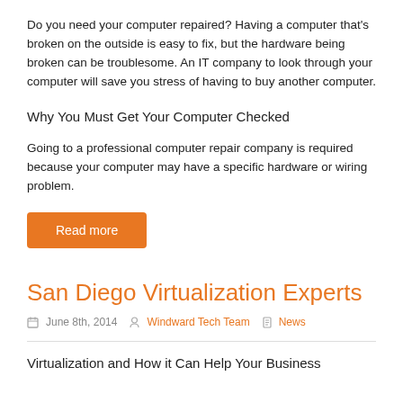Do you need your computer repaired? Having a computer that's broken on the outside is easy to fix, but the hardware being broken can be troublesome. An IT company to look through your computer will save you stress of having to buy another computer.
Why You Must Get Your Computer Checked
Going to a professional computer repair company is required because your computer may have a specific hardware or wiring problem.
Read more
San Diego Virtualization Experts
June 8th, 2014   Windward Tech Team   News
Virtualization and How it Can Help Your Business